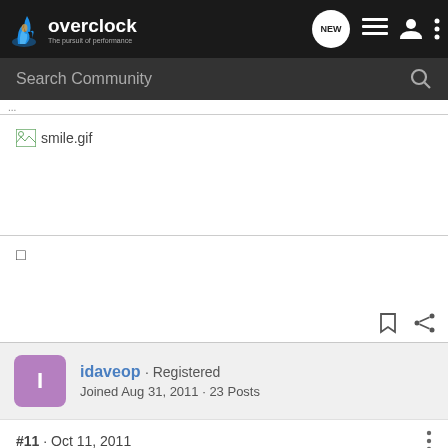overclock.net - The pursuit of performance
Search Community
[Figure (screenshot): Broken image placeholder with label 'smile.gif']
□
idaveop · Registered
Joined Aug 31, 2011 · 23 Posts
#11 · Oct 11, 2011
Quote: